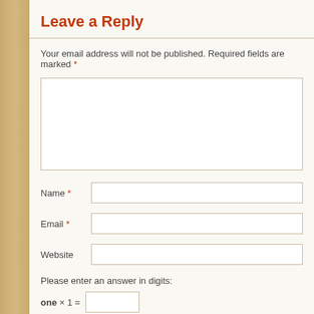Leave a Reply
Your email address will not be published. Required fields are marked *
Name *
Email *
Website
Please enter an answer in digits:
one × 1 =